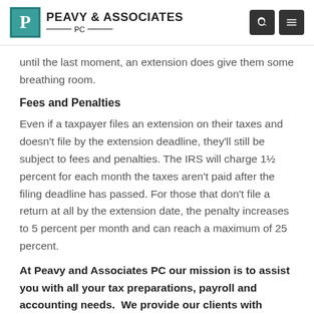PEAVY & ASSOCIATES PC
until the last moment, an extension does give them some breathing room.
Fees and Penalties
Even if a taxpayer files an extension on their taxes and doesn't file by the extension deadline, they'll still be subject to fees and penalties. The IRS will charge 1½ percent for each month the taxes aren't paid after the filing deadline has passed. For those that don't file a return at all by the extension date, the penalty increases to 5 percent per month and can reach a maximum of 25 percent.
At Peavy and Associates PC our mission is to assist you with all your tax preparations, payroll and accounting needs.  We provide our clients with professional, personalized accounting services and guidance in a wide range of